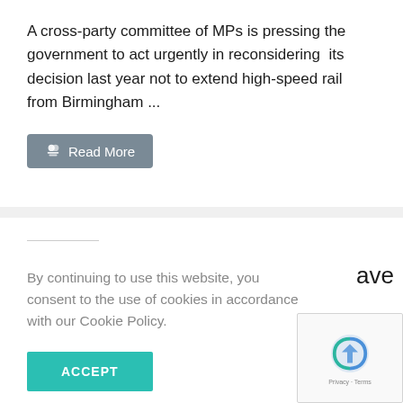A cross-party committee of MPs is pressing the government to act urgently in reconsidering  its decision last year not to extend high-speed rail from Birmingham ...
Read More
By continuing to use this website, you consent to the use of cookies in accordance with our Cookie Policy.
ACCEPT
ave
ist
llow
[Figure (logo): reCAPTCHA logo with privacy and terms text]